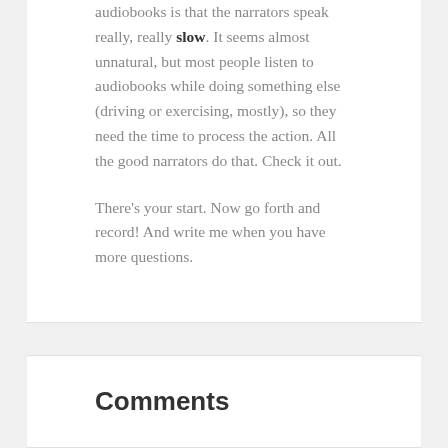audiobooks is that the narrators speak really, really slow. It seems almost unnatural, but most people listen to audiobooks while doing something else (driving or exercising, mostly), so they need the time to process the action. All the good narrators do that. Check it out.
There's your start. Now go forth and record! And write me when you have more questions.
Comments